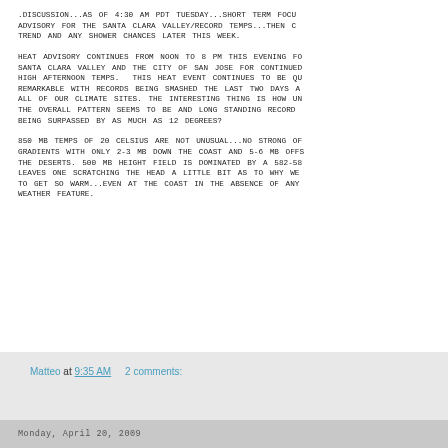.DISCUSSION...AS OF 4:30 AM PDT TUESDAY...SHORT TERM FOCUS ON HEAT ADVISORY FOR THE SANTA CLARA VALLEY/RECORD TEMPS...THEN COOLING TREND AND ANY SHOWER CHANCES LATER THIS WEEK.
HEAT ADVISORY CONTINUES FROM NOON TO 8 PM THIS EVENING FOR THE SANTA CLARA VALLEY AND THE CITY OF SAN JOSE FOR CONTINUED VERY HIGH AFTERNOON TEMPS.  THIS HEAT EVENT CONTINUES TO BE QUITE REMARKABLE WITH RECORDS BEING SMASHED THE LAST TWO DAYS AT NEARLY ALL OF OUR CLIMATE SITES. THE INTERESTING THING IS HOW UNREMARKABLE THE OVERALL PATTERN SEEMS TO BE AND LONG STANDING RECORDS ARE BEING SURPASSED BY AS MUCH AS 12 DEGREES?
850 MB TEMPS OF 20 CELSIUS ARE NOT UNUSUAL...NO STRONG OFFSHORE GRADIENTS WITH ONLY 2-3 MB DOWN THE COAST AND 5-6 MB OFFSHORE TO THE DESERTS. 500 MB HEIGHT FIELD IS DOMINATED BY A 582-588 DAM RIDGE. LEAVES ONE SCRATCHING THE HEAD A LITTLE BIT AS TO WHY WE CONTINUE TO GET SO WARM...EVEN AT THE COAST IN THE ABSENCE OF ANY HIGH IMPACT WEATHER FEATURE.
Matteo at 9:35 AM    2 comments:
Monday, April 20, 2009